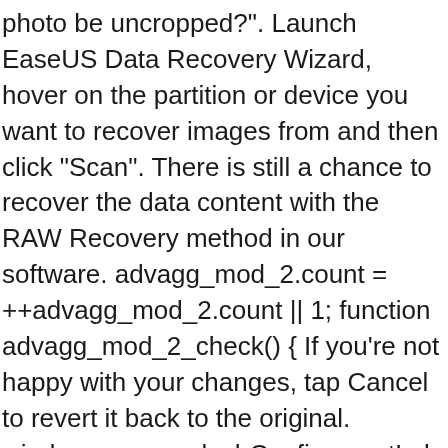photo be uncropped?". Launch EaseUS Data Recovery Wizard, hover on the partition or device you want to recover images from and then click "Scan". There is still a chance to recover the data content with the RAW Recovery method in our software. advagg_mod_2.count = ++advagg_mod_2.count || 1; function advagg_mod_2_check() { If you're not happy with your changes, tap Cancel to revert it back to the original. window.mangosplashConfig.eventLabel = 'dailytips_preoffer'; Lunapics Image software free image, art & animated Gif creator. After wrong processing and storing the original image, many users don't know how to revert edited photos to original. This is one of best applications that lets you remove unwanted content from your photos using just the tip of your finger. Click or tap the Versions tab, and then click or tap Restore for the version that